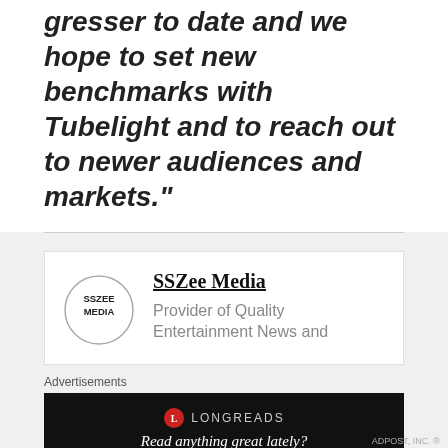gresser to date and we hope to set new benchmarks with Tubelight and to reach out to newer audiences and markets."
[Figure (logo): SSZee Media circular logo with text SSZEE MEDIA inside a circle border]
SSZee Media
Provider of Quality Entertainment News and
Advertisements
[Figure (logo): Longreads advertisement banner: circular L logo with LONGREADS text and tagline 'Read anything great lately?']